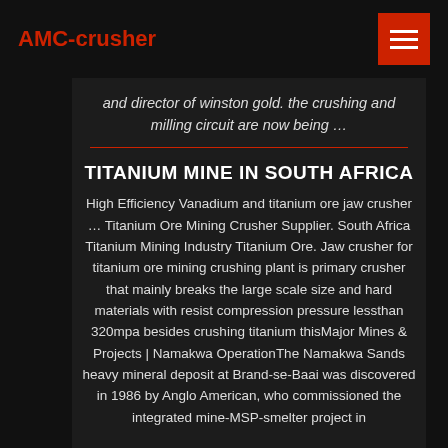AMC-crusher
and director of winston gold. the crushing and milling circuit are now being …
TITANIUM MINE IN SOUTH AFRICA
High Efficiency Vanadium and titanium ore jaw crusher … Titanium Ore Mining Crusher Supplier. South Africa Titanium Mining Industry Titanium Ore. Jaw crusher for titanium ore mining crushing plant is primary crusher that mainly breaks the large scale size and hard materials with resist compression pressure lessthan 320mpa besides crushing titanium thisMajor Mines & Projects | Namakwa OperationThe Namakwa Sands heavy mineral deposit at Brand-se-Baai was discovered in 1986 by Anglo American, who commissioned the integrated mine-MSP-smelter project in